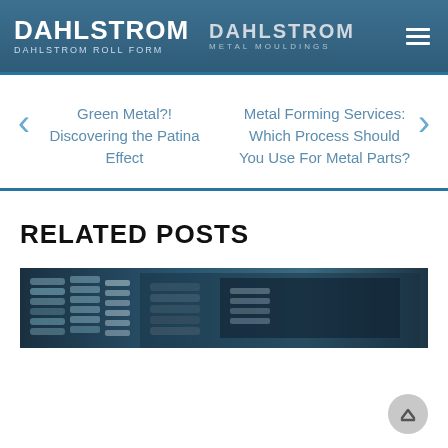DAHLSTROM DAHLSTROM ROLL FORM | DAHLSTROM METAL MOULDINGS
< Green Metal?! Discovering the Patina Effect
Metal Forming Services: Which Process Should You Use For Metal Parts? >
RELATED POSTS
[Figure (photo): Photo of metal rods/bars in an industrial manufacturing setting, dark blue tones]